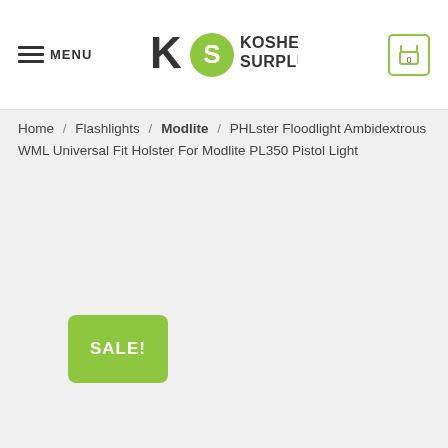MENU | KOSHER SURPLUS | 0
Home / Flashlights / Modlite / PHLster Floodlight Ambidextrous WML Universal Fit Holster For Modlite PL350 Pistol Light
SALE!